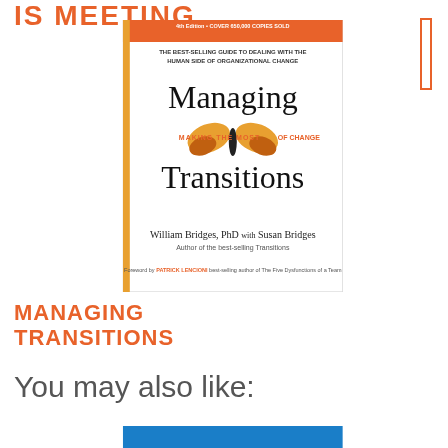IS MEETING
[Figure (illustration): Book cover of 'Managing Transitions: Making the Most of Change' by William Bridges, PhD with Susan Bridges. 4th Edition, Cover 650,000 copies sold. Orange and white cover with butterfly image.]
MANAGING TRANSITIONS
You may also like:
[Figure (illustration): Bottom portion of another book cover with blue background, partially visible at bottom of page.]